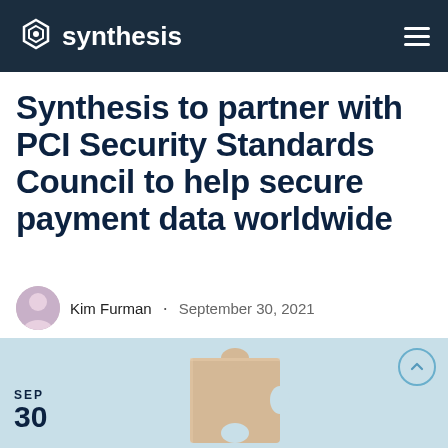synthesis
Synthesis to partner with PCI Security Standards Council to help secure payment data worldwide
Kim Furman · September 30, 2021
Share
[Figure (photo): Photo of wooden puzzle piece on light blue background, with SEP 30 date label on the left and a scroll-up circle button on the right]